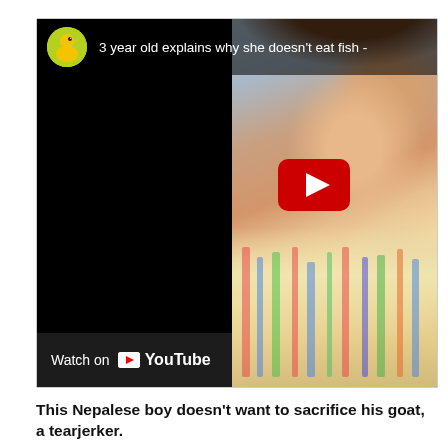[Figure (screenshot): YouTube video thumbnail showing a young girl (approximately 3 years old) with title '3 year old explains why she doesn't eat fish -' and a YouTube play button. Left half is black with 'Watch on YouTube' button at bottom. Right half shows the child's face close up.]
This Nepalese boy doesn't want to sacrifice his goat, a tearjerker.